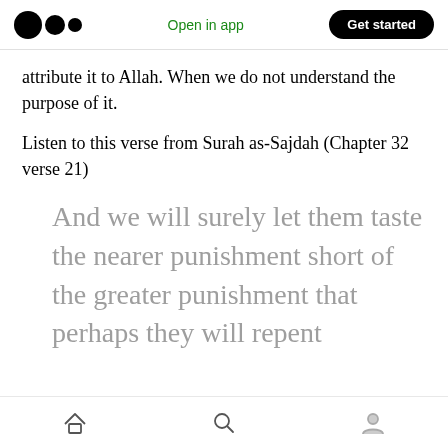Open in app | Get started
attribute it to Allah. When we do not understand the purpose of it.
Listen to this verse from Surah as-Sajdah (Chapter 32 verse 21)
And we will surely let them taste the nearer punishment short of the greater punishment that perhaps they will repent
Home | Search | Profile